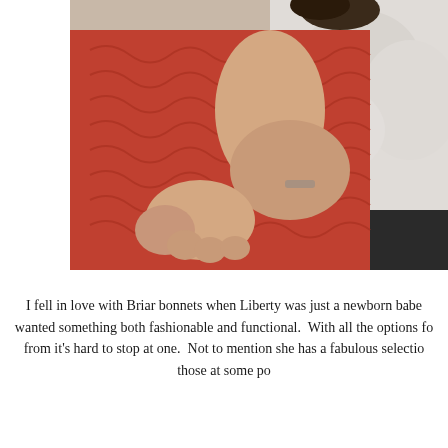[Figure (photo): Close-up photo of a baby wearing a reddish-orange knitted sweater, lying against a white fluffy background. A baby's arm and hand are visible resting on the sweater fabric.]
I fell in love with Briar bonnets when Liberty was just a newborn babe wanted something both fashionable and functional.  With all the options fo from it's hard to stop at one.  Not to mention she has a fabulous selectio those at some po